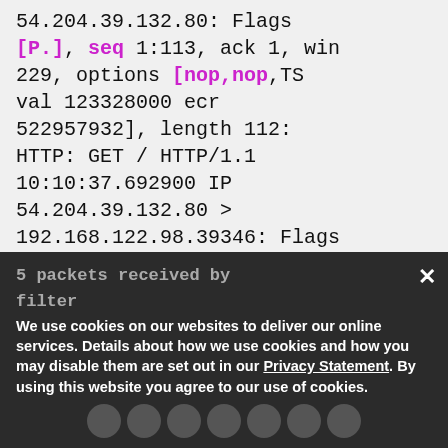54.204.39.132.80: Flags [P.], seq 1:113, ack 1, win 229, options [nop,nop,TS val 123328000 ecr 522957932], length 112: HTTP: GET / HTTP/1.1 10:10:37.692900 IP 54.204.39.132.80 > 192.168.122.98.39346: Flags [.], ack 113, win 57, options [nop,nop,TS val 522957942 ecr 123328000], length 0 5 packets captured 5 packets received by filter 0 packets dropped by kernel
We use cookies on our websites to deliver our online services. Details about how we use cookies and how you may disable them are set out in our Privacy Statement. By using this website you agree to our use of cookies.